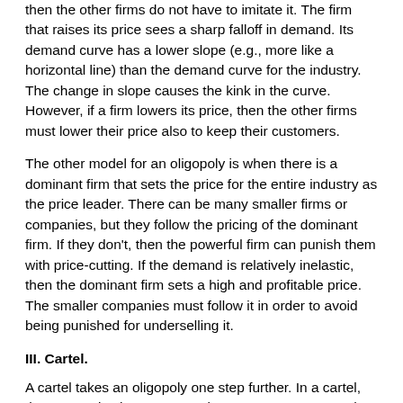then the other firms do not have to imitate it. The firm that raises its price sees a sharp falloff in demand. Its demand curve has a lower slope (e.g., more like a horizontal line) than the demand curve for the industry. The change in slope causes the kink in the curve. However, if a firm lowers its price, then the other firms must lower their price also to keep their customers.
The other model for an oligopoly is when there is a dominant firm that sets the price for the entire industry as the price leader. There can be many smaller firms or companies, but they follow the pricing of the dominant firm. If they don't, then the powerful firm can punish them with price-cutting. If the demand is relatively inelastic, then the dominant firm sets a high and profitable price. The smaller companies must follow it in order to avoid being punished for underselling it.
III. Cartel.
A cartel takes an oligopoly one step further. In a cartel, the companies have an actual agreement among each other to raise prices, reduce supply, or otherwise reduce competition. This is illegal. Agreements by companies to reduce competition are prohibited by federal law. The